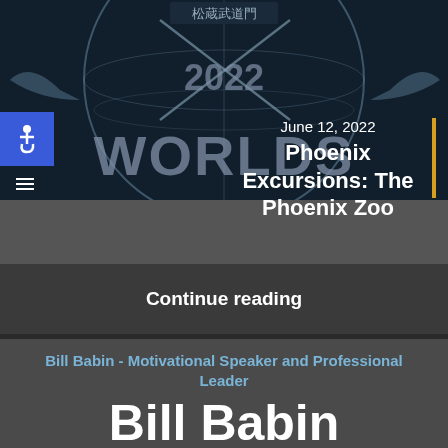[Figure (screenshot): Hero image of a martial arts or sports tournament logo with '2022 WORLDS' text on dark blue background with globe design and samurai/sword imagery. Overlaid with date 'June 12, 2022' and title 'Phoenix Excursions: The Phoenix Zoo' in white text, with a gold vertical accent bar. Blue accessibility icon in upper left. Hamburger menu icon lower left.]
June 12, 2022
Phoenix Excursions: The Phoenix Zoo
Continue reading
Bill Babin - Motivational Speaker and Professional Leader
Bill Babin